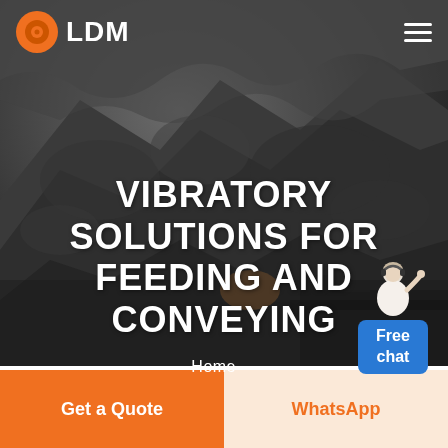LDM
[Figure (photo): Dark rocky mining landscape with coal/ore piles in the background, heavy industrial setting with dim lighting]
[Figure (infographic): Free chat widget with a customer service representative graphic and a blue button labeled Free chat]
VIBRATORY SOLUTIONS FOR FEEDING AND CONVEYING
Home  -
Get a Quote
WhatsApp